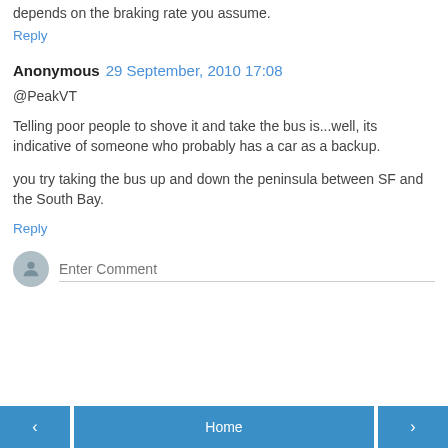depends on the braking rate you assume.
Reply
Anonymous  29 September, 2010 17:08
@PeakVT
Telling poor people to shove it and take the bus is...well, its indicative of someone who probably has a car as a backup.
you try taking the bus up and down the peninsula between SF and the South Bay.
Reply